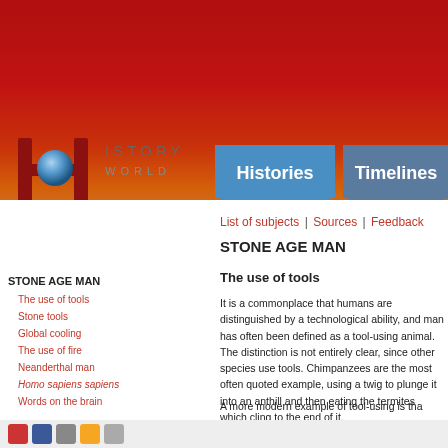[Figure (logo): History World logo with stylized H and globe, with 'ISTORY WORLD' text]
[Figure (infographic): Navigation buttons: 'Histories' and 'Timelines' with speech-bubble/chevron shapes in blue]
List of subjects | Sources | Feedback
STONE AGE MAN
STONE AGE MAN
The use of tools
Stone tools
Global cooling
The use of fire
Neanderthal man
Homo sapiens sapiens
Words on the brain
The use of tools
It is a commonplace that humans are distinguished by a technological ability, and man has often been defined as a tool-using animal. The distinction is not entirely clear, since other species use tools. Chimpanzees are the most often quoted example, using a twig to plunge it into an anthill and then eating the termites which cling to the end of it.
A more modern example of tool-using is tha